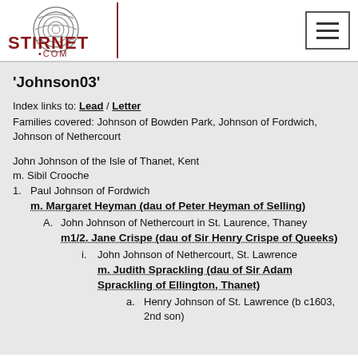Stirnet.com
'Johnson03'
Index links to: Lead / Letter
Families covered: Johnson of Bowden Park, Johnson of Fordwich, Johnson of Nethercourt
John Johnson of the Isle of Thanet, Kent
m. Sibil Crooche
1. Paul Johnson of Fordwich
m. Margaret Heyman (dau of Peter Heyman of Selling)
A. John Johnson of Nethercourt in St. Laurence, Thaney
m1/2. Jane Crispe (dau of Sir Henry Crispe of Queeks)
i. John Johnson of Nethercourt, St. Lawrence
m. Judith Sprackling (dau of Sir Adam Sprackling of Ellington, Thanet)
a. Henry Johnson of St. Lawrence (b c1603, 2nd son)